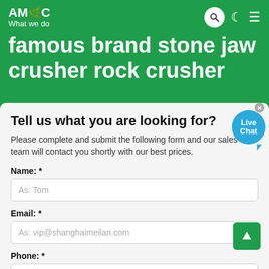AMC | What we do
famous brand stone jaw crusher rock crusher
Tell us what you are looking for?
Please complete and submit the following form and our sales team will contact you shortly with our best prices.
Name: *
As: Tom
Email: *
As: vip@shanghaimeilan.com
Phone: *
With Country Code